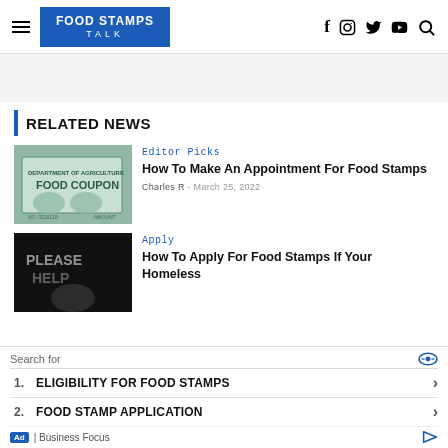Food Stamps Talk
RELATED NEWS
[Figure (photo): Food coupon / food stamp document close-up]
Editor Picks
How To Make An Appointment For Food Stamps
Charles R - March 25, 2022
[Figure (photo): Person holding a sign that reads PLEASE HELP]
Apply
How To Apply For Food Stamps If Your Homeless
Search for
1. ELIGIBILITY FOR FOOD STAMPS
2. FOOD STAMP APPLICATION
Ad | Business Focus